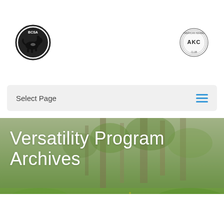[Figure (logo): BCSA Border Collie Society of America circular logo with dog silhouette]
[Figure (logo): AKC American Kennel Club circular logo]
Select Page
Versatility Program Archives
[Figure (photo): Hero background photo of green grass/meadow with blurred trees and a dark dog partially visible]